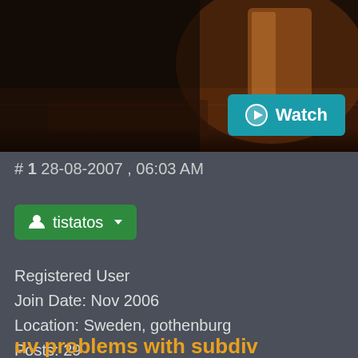[Figure (photo): Dark photograph of a wooden table with a glass of beer/drink in a bar or pub setting, shown as a hero banner image]
# 1 28-08-2007 , 06:03 AM
tistatos
Registered User
Join Date: Nov 2006
Location: Sweden, gothenburg
Posts: 29
uv problems with subdiv